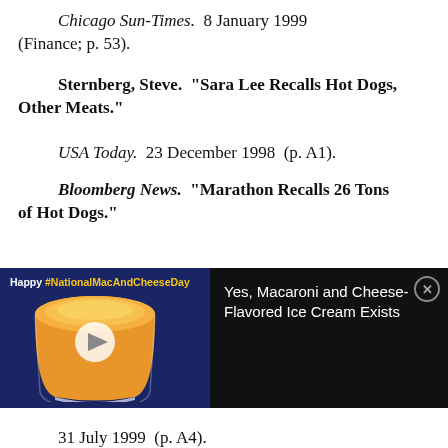Chicago Sun-Times.  8 January 1999 (Finance; p. 53).
Sternberg, Steve.  "Sara Lee Recalls Hot Dogs, Other Meats."
USA Today.  23 December 1998  (p. A1).
Bloomberg News.  "Marathon Recalls 26 Tons of Hot Dogs."
[Figure (infographic): Advertisement banner: dark blue left panel with 'Happy #NationalMacAndCheeseDay' text and image of mac and cheese cup with play button. Black right panel with text 'Yes, Macaroni and Cheese-Flavored Ice Cream Exists' and close button.]
31 July 1999  (p. A4).